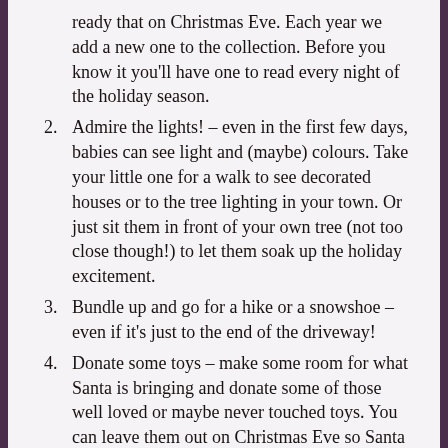ready that on Christmas Eve. Each year we add a new one to the collection. Before you know it you'll have one to read every night of the holiday season.
Admire the lights! – even in the first few days, babies can see light and (maybe) colours. Take your little one for a walk to see decorated houses or to the tree lighting in your town. Or just sit them in front of your own tree (not too close though!) to let them soak up the holiday excitement.
Bundle up and go for a hike or a snowshoe – even if it's just to the end of the driveway!
Donate some toys – make some room for what Santa is bringing and donate some of those well loved or maybe never touched toys. You can leave them out on Christmas Eve so Santa can take them when he comes and take them to other families who might be able to use them!
Speaking of Santa, write him a letter. It's nice to be...